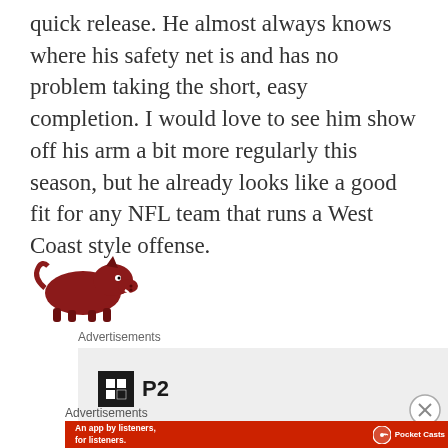quick release. He almost always knows where his safety net is and has no problem taking the short, easy completion. I would love to see him show off his arm a bit more regularly this season, but he already looks like a good fit for any NFL team that runs a West Coast style offense.
[Figure (logo): Arkansas Razorbacks running hog mascot logo in dark red/maroon color]
Advertisements
[Figure (screenshot): Advertisement box with P2 logo - black square icon with grid pattern and P2 text]
Advertisements
[Figure (screenshot): Pocket Casts advertisement banner - red background with text 'An app by listeners, for listeners.' and Pocket Casts logo with phone image]